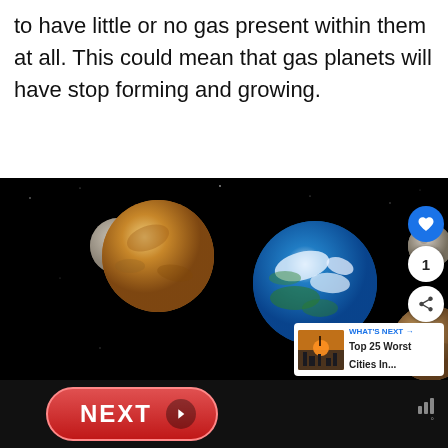to have little or no gas present within them at all. This could mean that gas planets will have stop forming and growing.
[Figure (photo): Space image showing several planets of different sizes against a black background, including what appears to be Venus, Earth, and several moons or smaller rocky planets. UI overlay elements visible including like button, share button, count '1', and a 'What's Next' card showing 'Top 25 Worst Cities In...']
[Figure (other): NEXT navigation button bar at the bottom with red rounded pill button labeled NEXT with arrow icon, on dark background]